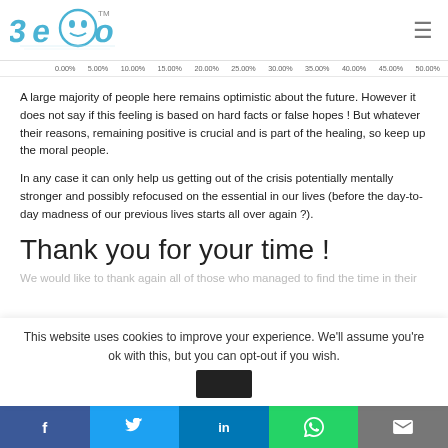[Figure (logo): 3eco logo with stylized text and circular icon, trademark symbol]
[Figure (other): Partial horizontal bar chart axis showing percentage values: 0.00%, 5.00%, 10.00%, 15.00%, 20.00%, 25.00%, 30.00%, 35.00%, 40.00%, 45.00%, 50.00%]
A large majority of people here remains optimistic about the future. However it does not say if this feeling is based on hard facts or false hopes ! But whatever their reasons, remaining positive is crucial and is part of the healing, so keep up the moral people.
In any case it can only help us getting out of the crisis potentially mentally stronger and possibly refocused on the essential in our lives (before the day-to-day madness of our previous lives starts all over again ?).
Thank you for your time !
We would like to thank again all of those who managed to find the time in their
This website uses cookies to improve your experience. We'll assume you're ok with this, but you can opt-out if you wish.